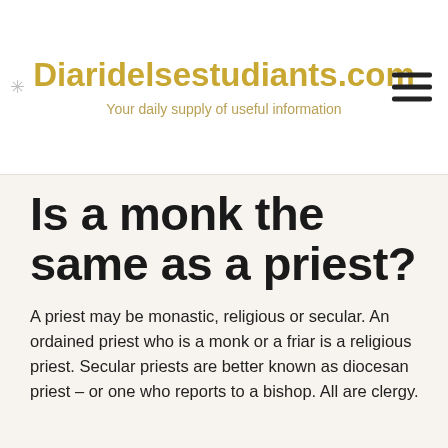Diaridelsestudiants.com
Your daily supply of useful information
Is a monk the same as a priest?
A priest may be monastic, religious or secular. An ordained priest who is a monk or a friar is a religious priest. Secular priests are better known as diocesan priest – or one who reports to a bishop. All are clergy.